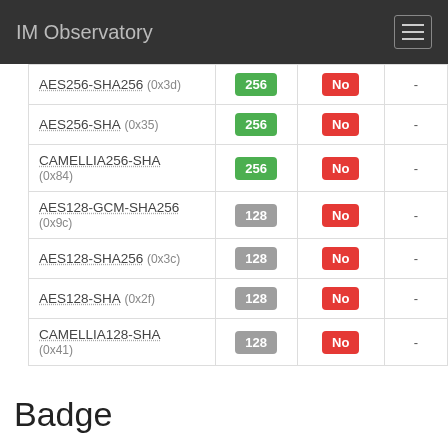IM Observatory
|  |  |  |  |
| --- | --- | --- | --- |
| AES256-SHA256 (0x3d) | 256 | No | - |
| AES256-SHA (0x35) | 256 | No | - |
| CAMELLIA256-SHA (0x84) | 256 | No | - |
| AES128-GCM-SHA256 (0x9c) | 128 | No | - |
| AES128-SHA256 (0x3c) | 128 | No | - |
| AES128-SHA (0x2f) | 128 | No | - |
| CAMELLIA128-SHA (0x41) | 128 | No | - |
Badge